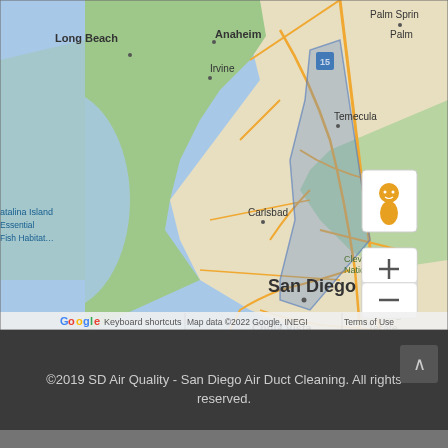[Figure (map): Google Maps screenshot showing Southern California coastal region including Long Beach, Anaheim, Irvine, Temecula, Carlsbad, San Diego, Chula Vista, and parts of Cleveland National Forest. A blue highlighted polygon overlay covers a coastal strip from roughly Carlsbad to just south of Chula Vista. Map controls include a street view person icon and zoom +/- buttons on the right side. Bottom bar shows Google logo, Keyboard shortcuts, Map data ©2022 Google, INEGI, Terms of Use.]
©2019 SD Air Quality - San Diego Air Duct Cleaning. All rights reserved.